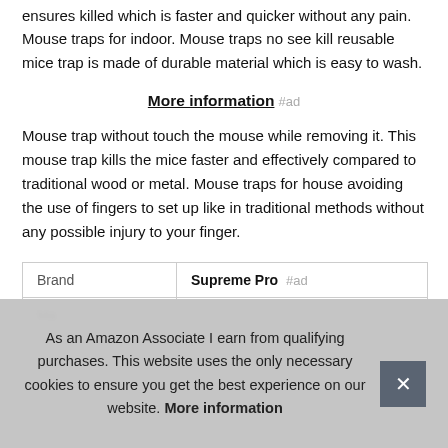ensures killed which is faster and quicker without any pain. Mouse traps for indoor. Mouse traps no see kill reusable mice trap is made of durable material which is easy to wash.
More information #ad
Mouse trap without touch the mouse while removing it. This mouse trap kills the mice faster and effectively compared to traditional wood or metal. Mouse traps for house avoiding the use of fingers to set up like in traditional methods without any possible injury to your finger.
| Brand |  |
| --- | --- |
| Brand | Supreme Pro #ad |
| Ma |  |
As an Amazon Associate I earn from qualifying purchases. This website uses the only necessary cookies to ensure you get the best experience on our website. More information